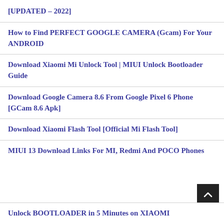[UPDATED – 2022]
How to Find PERFECT GOOGLE CAMERA (Gcam) For Your ANDROID
Download Xiaomi Mi Unlock Tool | MIUI Unlock Bootloader Guide
Download Google Camera 8.6 From Google Pixel 6 Phone [GCam 8.6 Apk]
Download Xiaomi Flash Tool [Official Mi Flash Tool]
MIUI 13 Download Links For MI, Redmi And POCO Phones
Unlock BOOTLOADER in 5 Minutes on XIAOMI